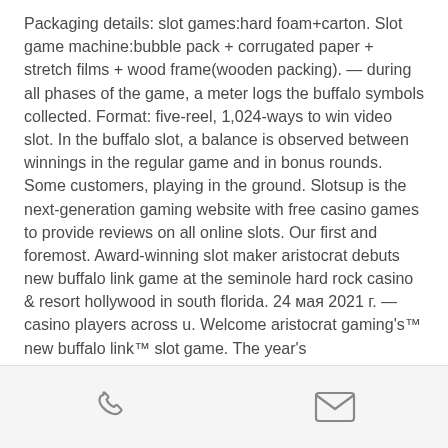Packaging details: slot games:hard foam+carton. Slot game machine:bubble pack + corrugated paper + stretch films + wood frame(wooden packing). — during all phases of the game, a meter logs the buffalo symbols collected. Format: five-reel, 1,024-ways to win video slot. In the buffalo slot, a balance is observed between winnings in the regular game and in bonus rounds. Some customers, playing in the ground. Slotsup is the next-generation gaming website with free casino games to provide reviews on all online slots. Our first and foremost. Award-winning slot maker aristocrat debuts new buffalo link game at the seminole hard rock casino &amp; resort hollywood in south florida. 24 мая 2021 г. — casino players across u. Welcome aristocrat gaming's™ new buffalo link™ slot game. The year's
phone icon | email icon